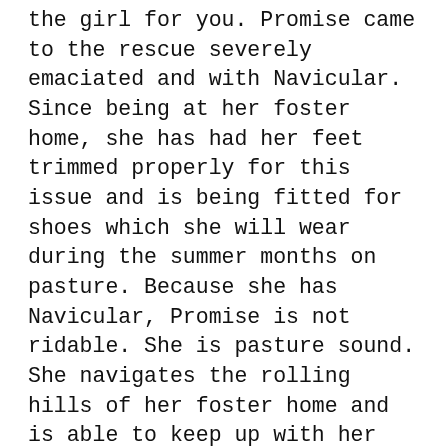the girl for you. Promise came to the rescue severely emaciated and with Navicular. Since being at her foster home, she has had her feet trimmed properly for this issue and is being fitted for shoes which she will wear during the summer months on pasture. Because she has Navicular, Promise is not ridable. She is pasture sound. She navigates the rolling hills of her foster home and is able to keep up with her herd mates (2 mares, 2 geldings, and a mini). Promise does not tolerate being stalled and would not do well in a barn life situation. Her adopter must be willing to spend the extra time at feeding time to meet her health needs. She will also require a home with a farrier who knows the needs of a horse with Navicular. She does take daily medication to keep her comfortable